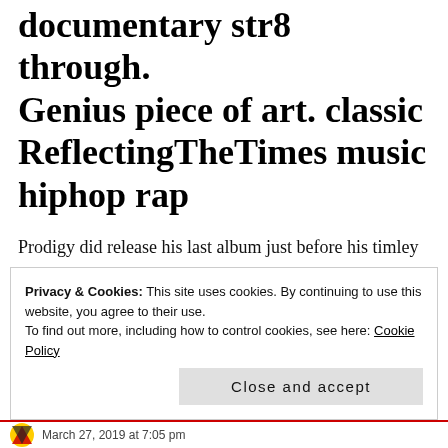documentary str8 through. Genius piece of art. classic ReflectingTheTimes music hiphop rap
Prodigy did release his last album just before his timley death...titled the hegelian dialectic...Exposing this process of reasoning (but hey just coincidence of course...)
Interested to hear your thoughts.
Privacy & Cookies: This site uses cookies. By continuing to use this website, you agree to their use.
To find out more, including how to control cookies, see here: Cookie Policy
Close and accept
March 27, 2019 at 7:05 pm